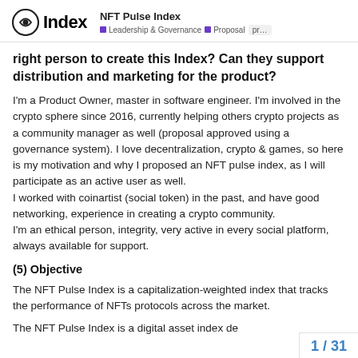Index | NFT Pulse Index | Leadership & Governance | Proposal | pr...
right person to create this Index? Can they support distribution and marketing for the product?
I'm a Product Owner, master in software engineer. I'm involved in the crypto sphere since 2016, currently helping others crypto projects as a community manager as well (proposal approved using a governance system). I love decentralization, crypto & games, so here is my motivation and why I proposed an NFT pulse index, as I will participate as an active user as well.
I worked with coinartist (social token) in the past, and have good networking, experience in creating a crypto community.
I'm an ethical person, integrity, very active in every social platform, always available for support.
(5) Objective
The NFT Pulse Index is a capitalization-weighted index that tracks the performance of NFTs protocols across the market.
The NFT Pulse Index is a digital asset index de
1 / 31